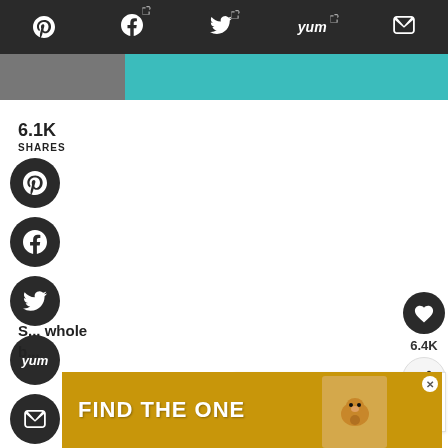[Figure (screenshot): Dark toolbar with social share icons: Pinterest, Facebook (with external link icon), Twitter (with external link icon), Yummly (with external link icon), Email]
[Figure (photo): Top image banner strip: small photo thumbnail on left, teal/cyan colored rectangle on right]
6.1K
SHARES
[Figure (screenshot): Vertical column of 5 circular dark social share buttons: Pinterest, Facebook, Twitter, Yummly, Email]
[Figure (screenshot): Right floating widget with heart button, 6.4K count, and share button]
[Figure (screenshot): What's Next panel with thumbnail and text: WHAT'S NEXT → Easy Hungarian Chicken...]
S... whole b...
[Figure (screenshot): Advertisement banner: FIND THE ONE with dog image and close button]